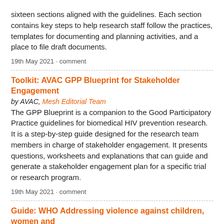sixteen sections aligned with the guidelines. Each section contains key steps to help research staff follow the practices, templates for documenting and planning activities, and a place to file draft documents.
19th May 2021 · comment
Toolkit: AVAC GPP Blueprint for Stakeholder Engagement
by AVAC, Mesh Editorial Team
The GPP Blueprint is a companion to the Good Participatory Practice guidelines for biomedical HIV prevention research. It is a step-by-step guide designed for the research team members in charge of stakeholder engagement. It presents questions, worksheets and explanations that can guide and generate a stakeholder engagement plan for a specific trial or research program.
19th May 2021 · comment
Guide: WHO Addressing violence against children, women and